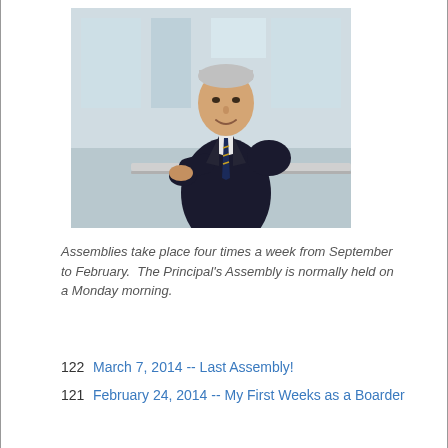[Figure (photo): Professional portrait photo of a middle-aged man in a dark suit and tie, leaning on a railing in a modern building interior.]
Assemblies take place four times a week from September to February.  The Principal's Assembly is normally held on a Monday morning.
122 March 7, 2014 -- Last Assembly!
121 February 24, 2014 -- My First Weeks as a Boarder